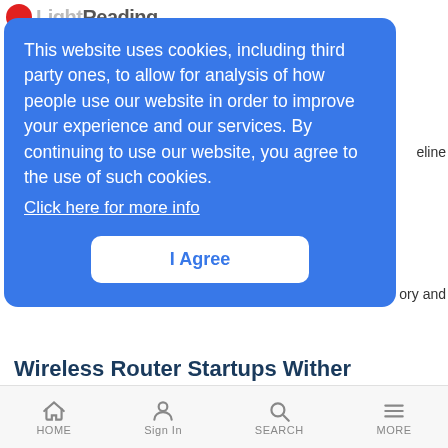LightReading
This website uses cookies, including third party ones, to allow for analysis of how people people use our website in order to improve your experience and our services. By continuing to use our website, you agree to the use of such cookies. Click here for more info
I Agree
Wireless Router Startups Wither
LR Mobile News Analysis | 7/14/2005
Starent remains the lone successful independent player as VCs flush away $191M
HOME  Sign In  SEARCH  MORE